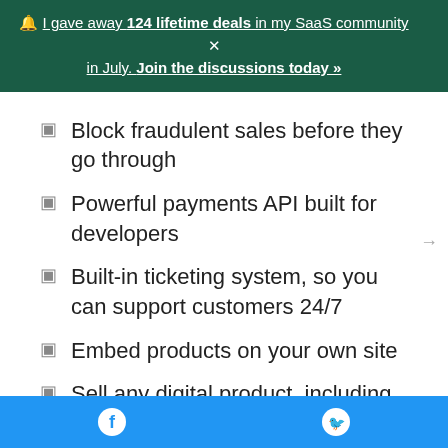🔔 I gave away 124 lifetime deals in my SaaS community in July. Join the discussions today »
Block fraudulent sales before they go through
Powerful payments API built for developers
Built-in ticketing system, so you can support customers 24/7
Embed products on your own site
Sell any digital product, including files and software as well downloads or license keys. You can also sell activation codes for on-demand
Facebook | Twitter